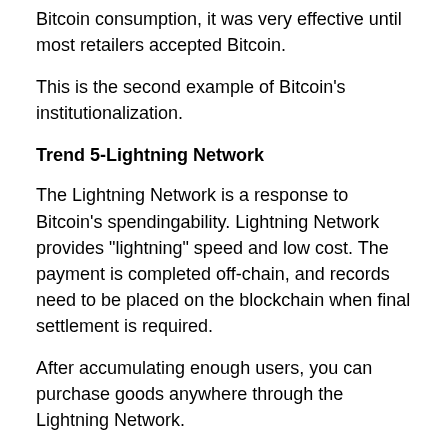Bitcoin consumption, it was very effective until most retailers accepted Bitcoin.
This is the second example of Bitcoin's institutionalization.
Trend 5-Lightning Network
The Lightning Network is a response to Bitcoin's spendingability. Lightning Network provides "lightning" speed and low cost. The payment is completed off-chain, and records need to be placed on the blockchain when final settlement is required.
After accumulating enough users, you can purchase goods anywhere through the Lightning Network.
The Lightning Network is still in its infancy, with network capacity of only about $ 10 million (see table below). Although the growth rate has slowed recently, the number